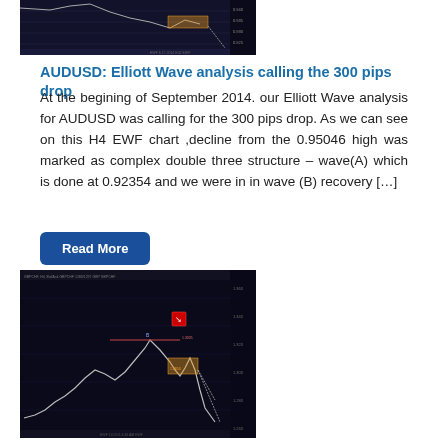[Figure (screenshot): AUDUSD Elliott Wave H4 chart screenshot showing price action with orange box zone and downward projection lines on dark background]
AUDUSD: Elliott Wave analysis calling the 300 pips drop
At the begining of September 2014. our Elliott Wave analysis for AUDUSD was calling for the 300 pips drop. As we can see on this H4 EWF chart ,decline from the 0.95046 high was marked as complex double three structure – wave(A) which is done at 0.92354 and we were in in wave (B) recovery […]
Read More
[Figure (screenshot): GBPCHF Elliott Wave chart screenshot showing price curve with rise then decline, orange box zone, red down icon, and projected drop lines]
GBPCHF: Elliott Wave analysis calling the drop (Part 2)